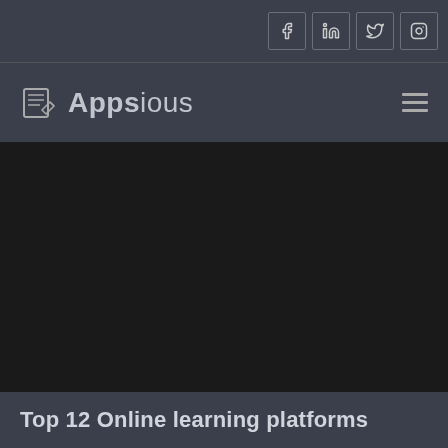[Figure (screenshot): Social media icons row: Facebook, LinkedIn, Twitter, Instagram in bordered square buttons on dark header bar]
[Figure (logo): Appsious logo with document/pencil icon on left and hamburger menu icon on right, on dark navigation bar]
[Figure (photo): Dark near-black hero banner area, likely a background image for an article]
Top 12 Online learning platforms